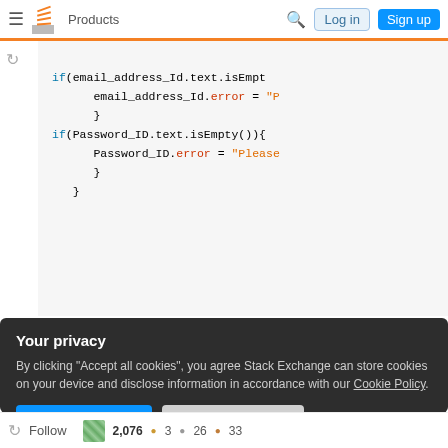≡  Stack Overflow logo  Products  🔍  Log in  Sign up
[Figure (screenshot): Code snippet showing Android Java code with if statements checking email_address_Id.text.isEmpty() and Password_ID.text.isEmpty() with error assignments]
Share
Improve this answer
Follow
answered Jan 9, 2019 at 18:41
BIS Tech  13.7k  ● 8  ● 76  ● 118
Add a comment
Your privacy
By clicking "Accept all cookies", you agree Stack Exchange can store cookies on your device and disclose information in accordance with our Cookie Policy.
Accept all cookies   Customize settings
Follow  2,076 ●3 ●26 ●33